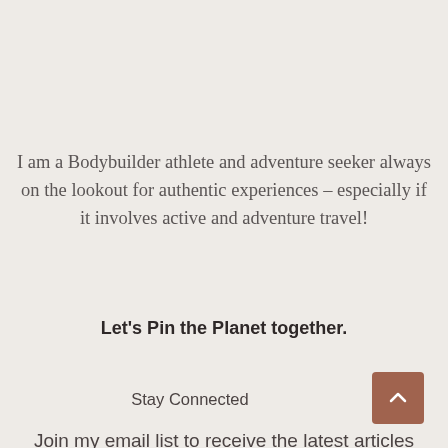I am a Bodybuilder athlete and adventure seeker always on the lookout for authentic experiences – especially if it involves active and adventure travel!
Let's Pin the Planet together.
Stay Connected
Join my email list to receive the latest articles